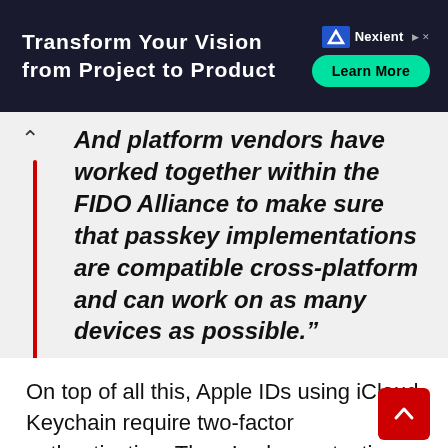[Figure (other): Nexient advertisement banner with dark navy background. Text: 'Transform Your Vision from Project to Product' with Nexient logo and 'Learn More' green button.]
And platform vendors have worked together within the FIDO Alliance to make sure that passkey implementations are compatible cross-platform and can work on as many devices as possible.”
On top of all this, Apple IDs using iCloud Keychain require two-factor authentication. There’s also protection against rogue devices accessing a Keychain via syncing identities and